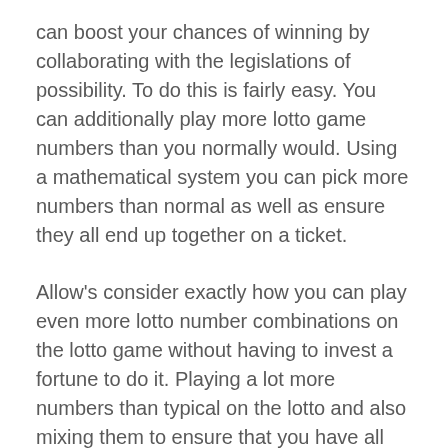can boost your chances of winning by collaborating with the legislations of possibility. To do this is fairly easy. You can additionally play more lotto game numbers than you normally would. Using a mathematical system you can pick more numbers than normal as well as ensure they all end up together on a ticket.
Allow's consider exactly how you can play even more lotto number combinations on the lotto game without having to invest a fortune to do it. Playing a lot more numbers than typical on the lotto and also mixing them to ensure that you have all feasible combinations is called 'wheeling'.
Lottery keluaran hk wheeling is a technique by which you can select extra numbers than you typically would with a standard ticket. As an example, in a 6 from 49 draw (like the UK lotto) you do not choose 6 numbers but pick 7, 8, 9 or